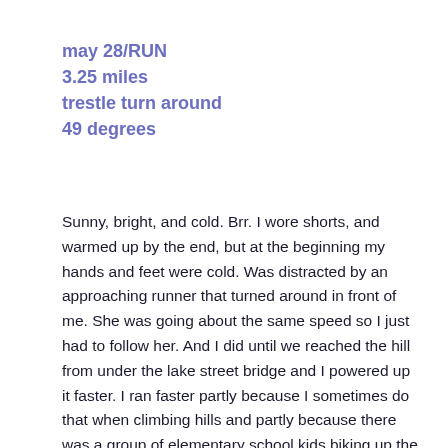may 28/RUN
3.25 miles
trestle turn around
49 degrees
Sunny, bright, and cold. Brr. I wore shorts, and warmed up by the end, but at the beginning my hands and feet were cold. Was distracted by an approaching runner that turned around in front of me. She was going about the same speed so I just had to follow her. And I did until we reached the hill from under the lake street bridge and I powered up it faster. I ran faster partly because I sometimes do that when climbing hills and partly because there was a group of elementary school kids biking up the hill and, without realizing it, I decided to race them. Of course, once I passed her, I had to keep going faster so she didn't catch up, which messed up my plan for an easy run.